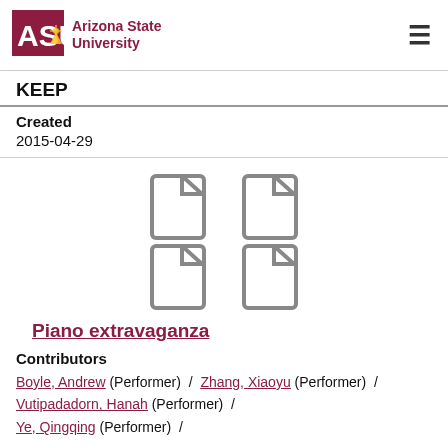ASU Arizona State University
KEEP
Created
2015-04-29
[Figure (illustration): Four document/file icons arranged in a 2x2 grid]
Piano extravaganza
Contributors
Boyle, Andrew (Performer) / Zhang, Xiaoyu (Performer) / Vutipadadorn, Hanah (Performer) / Ye, Qingqing (Performer) /